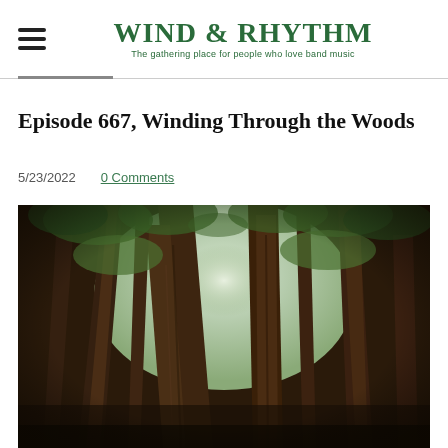WIND & RHYTHM — The gathering place for people who love band music
Episode 667, Winding Through the Woods
5/23/2022   0 Comments
[Figure (photo): Upward-looking photo through tall redwood trees, showing trunks converging toward a bright sky with green foliage]